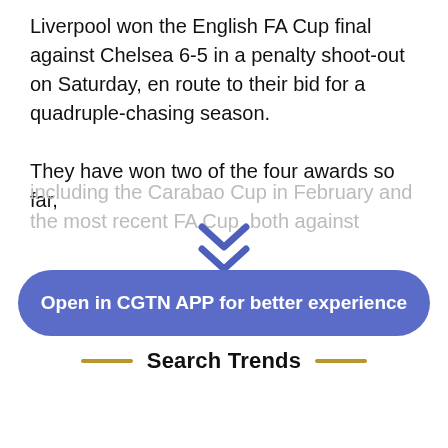Liverpool won the English FA Cup final against Chelsea 6-5 in a penalty shoot-out on Saturday, en route to their bid for a quadruple-chasing season.
They have won two of the four awards so far, including the Carabao Cup in February and the most recent FA Cup, both against
[Figure (illustration): Blue chevron/down-arrow icon indicating expandable content]
Open in CGTN APP for better experience
Search Trends